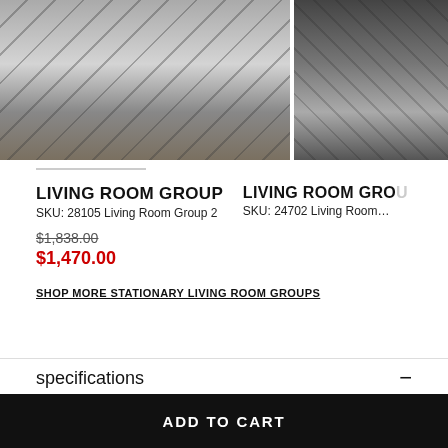[Figure (photo): Living room group with grey sofa on patterned rug, left product image]
[Figure (photo): Living room group with dark leather sofa on patterned rug, right product image (partially cropped)]
LIVING ROOM GROUP
SKU: 28105 Living Room Group 2
$1,838.00
$1,470.00
LIVING ROOM GRO…
SKU: 24702 Living Room…
SHOP MORE STATIONARY LIVING ROOM GROUPS
specifications
Item & Dimensions
Manufacturer	Benchcraft
ADD TO CART